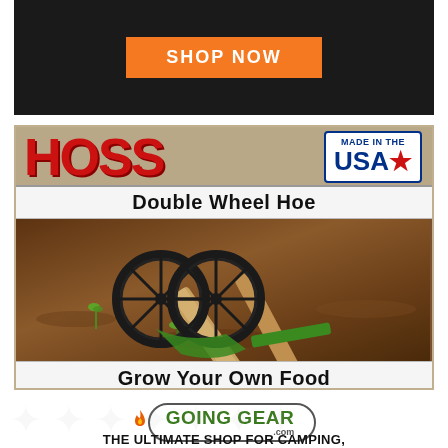[Figure (advertisement): Dark background advertisement with orange SHOP NOW button]
[Figure (advertisement): HOSS Double Wheel Hoe advertisement with Made in the USA badge, photo of wheel hoe in soil, and tagline Grow Your Own Food]
[Figure (logo): Going Gear .com logo with flame icon in rounded rectangle]
THE ULTIMATE SHOP FOR CAMPING,